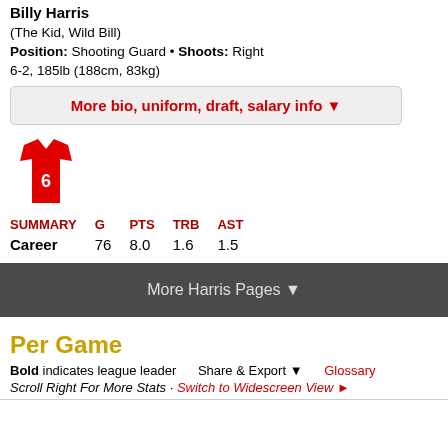Billy Harris
(The Kid, Wild Bill)
Position: Shooting Guard • Shoots: Right
6-2, 185lb (188cm, 83kg)
More bio, uniform, draft, salary info ▼
[Figure (illustration): Red basketball jersey with number 6]
| SUMMARY | G | PTS | TRB | AST |
| --- | --- | --- | --- | --- |
| Career | 76 | 8.0 | 1.6 | 1.5 |
More Harris Pages ▼
Per Game
Bold indicates league leader    Share & Export ▼    Glossary
Scroll Right For More Stats · Switch to Widescreen View ►